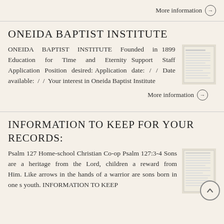More information →
ONEIDA BAPTIST INSTITUTE
ONEIDA BAPTIST INSTITUTE Founded in 1899 Education for Time and Eternity Support Staff Application Position desired: Application date: / / Date available: / / Your interest in Oneida Baptist Institute
[Figure (photo): Thumbnail image of a document form]
More information →
INFORMATION TO KEEP FOR YOUR RECORDS:
Psalm 127 Home-school Christian Co-op Psalm 127:3-4 Sons are a heritage from the Lord, children a reward from Him. Like arrows in the hands of a warrior are sons born in one s youth. INFORMATION TO KEEP
[Figure (photo): Thumbnail image of a document form]